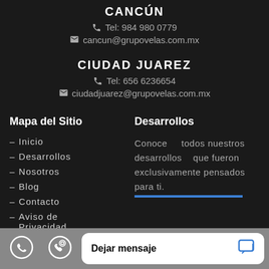CANCUN
Tel: 984 980 0779
cancun@grupovelas.com.mx
CIUDAD JUAREZ
Tel: 656 6236654
ciudadjuarez@grupovelas.com.mx
Mapa del Sitio
- Inicio
- Desarrollos
- Nosotros
- Blog
- Contacto
- Aviso de Privacidad
Desarrollos
Conoce todos nuestros desarrollos que fueron exclusivamente pensados para ti.
Dejar mensaje